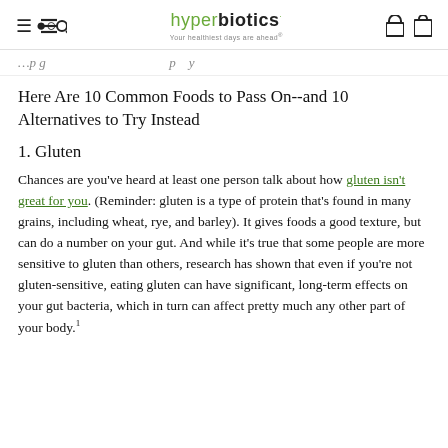hyperbiotics · Your healthiest days are ahead
…continuing text from previous page…
Here Are 10 Common Foods to Pass On--and 10 Alternatives to Try Instead
1. Gluten
Chances are you've heard at least one person talk about how gluten isn't great for you. (Reminder: gluten is a type of protein that's found in many grains, including wheat, rye, and barley). It gives foods a good texture, but can do a number on your gut. And while it's true that some people are more sensitive to gluten than others, research has shown that even if you're not gluten-sensitive, eating gluten can have significant, long-term effects on your gut bacteria, which in turn can affect pretty much any other part of your body.¹